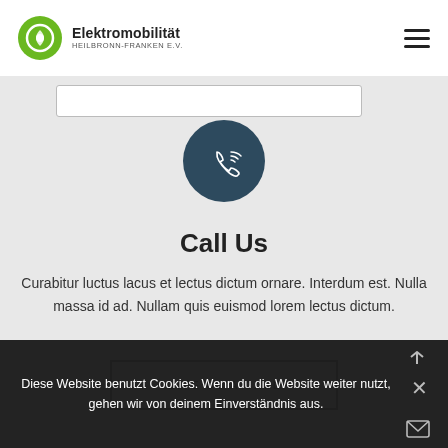Elektromobilität HEILBRONN-FRANKEN e.V.
[Figure (screenshot): Website screenshot of Elektromobilitaet Heilbronn-Franken e.V. showing a 'Call Us' section with phone icon, descriptive text, and a 'Give Us A Call' button, with a cookie consent bar at the bottom.]
Call Us
Curabitur luctus lacus et lectus dictum ornare. Interdum est. Nulla massa id ad. Nullam quis euismod lorem lectus dictum.
GIVE US A CALL
Diese Website benutzt Cookies. Wenn du die Website weiter nutzt, gehen wir von deinem Einverständnis aus.